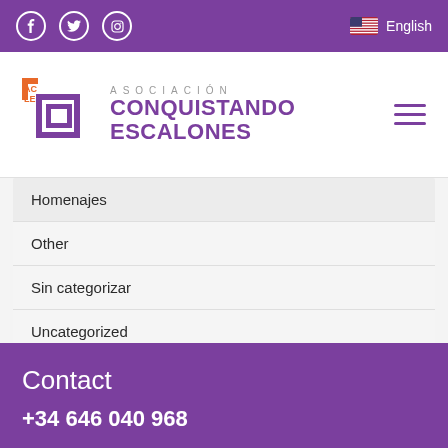Facebook Twitter Instagram | English
[Figure (logo): Asociación Conquistando Escalones logo with purple maze icon and text]
Homenajes
Other
Sin categorizar
Uncategorized
Contact
+34 646 040 968